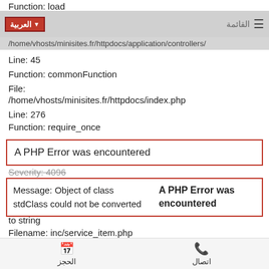Function: load
/home/vhosts/minisites.fr/httpdocs/application/controllers/
Line: 45
Function: commonFunction
File:
/home/vhosts/minisites.fr/httpdocs/index.php
Line: 276
Function: require_once
A PHP Error was encountered
Severity: 4096
Message: Object of class stdClass could not be converted to string
A PHP Error was encountered
Filename: inc/service_item.php
Line Number: 7
Backtrace:
الحجز  اتصال